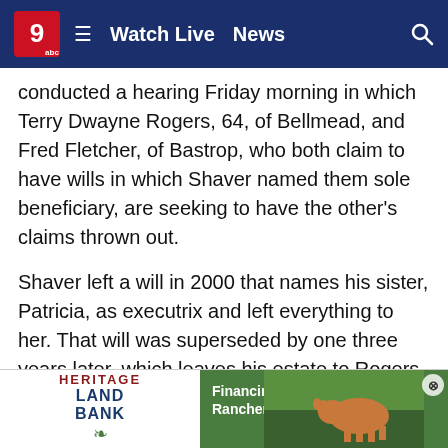Watch Live  News
conducted a hearing Friday morning in which Terry Dwayne Rogers, 64, of Bellmead, and Fred Fletcher, of Bastrop, who both claim to have wills in which Shaver named them sole beneficiary, are seeking to have the other’s claims thrown out.
Shaver left a will in 2000 that names his sister, Patricia, as executrix and left everything to her. That will was superseded by one three years later, which leaves his estate to Rogers, his sister’ son.
Both of those wills, and others Shaver drafted over the years, were drawn up professionally by attorney Elizabeth Miller, who died in January 2021.
Howev…
Bobbie…
handw…
[Figure (advertisement): Heritage Land Bank advertisement - Financing East Texas Ranchers Since 1917, with image of cow in green field]